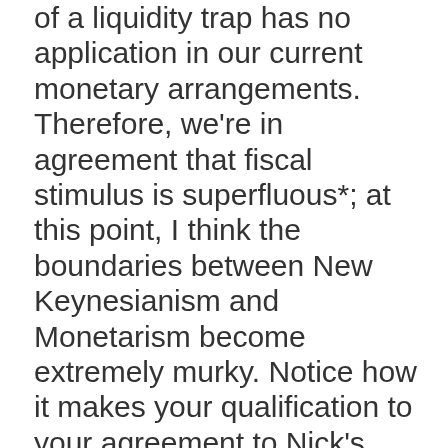of a liquidity trap has no application in our current monetary arrangements. Therefore, we're in agreement that fiscal stimulus is superfluous*; at this point, I think the boundaries between New Keynesianism and Monetarism become extremely murky. Notice how it makes your qualification to your agreement to Nick's post irrelevant in all but high theory and to some extent practical policy i.e. it's a good argument for moving central banks to purchasing assets on the basis of independent and non-oligopolistic ratings agencies'